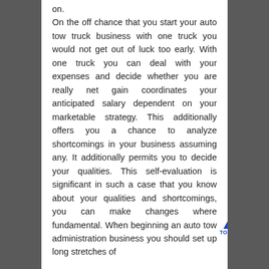on.
On the off chance that you start your auto tow truck business with one truck you would not get out of luck too early. With one truck you can deal with your expenses and decide whether you are really net gain coordinates your anticipated salary dependent on your marketable strategy. This additionally offers you a chance to analyze shortcomings in your business assuming any. It additionally permits you to decide your qualities. This self-evaluation is significant in such a case that you know about your qualities and shortcomings, you can make changes where fundamental. When beginning an auto tow administration business you should set up long stretches of